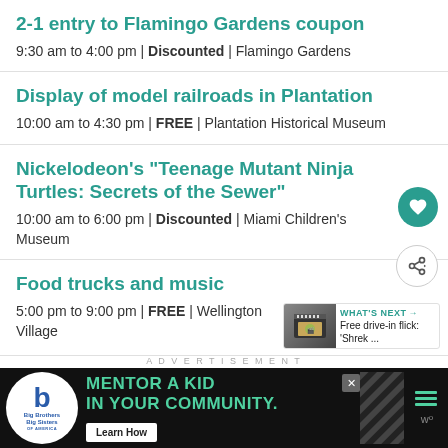2-1 entry to Flamingo Gardens coupon
9:30 am to 4:00 pm | Discounted | Flamingo Gardens
Display of model railroads in Plantation
10:00 am to 4:30 pm | FREE | Plantation Historical Museum
Nickelodeon's "Teenage Mutant Ninja Turtles: Secrets of the Sewer"
10:00 am to 6:00 pm | Discounted | Miami Children's Museum
Food trucks and music
5:00 pm to 9:00 pm | FREE | Wellington Village
[Figure (other): WHAT'S NEXT promo box: Free drive-in flick: 'Shrek ...' with film thumbnail]
ADVERTISEMENT
[Figure (infographic): Big Brothers Big Sisters advertisement: MENTOR A KID IN YOUR COMMUNITY with Learn How button]